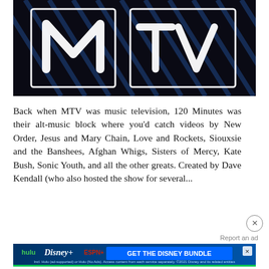[Figure (photo): Close-up photo of the MTV logo (letters M and TV) painted in white on a dark background with diagonal blue stripes, appearing to be graffiti or a mural.]
Back when MTV was music television, 120 Minutes was their alt-music block where you'd catch videos by New Order, Jesus and Mary Chain, Love and Rockets, Siouxsie and the Banshees, Afghan Whigs, Sisters of Mercy, Kate Bush, Sonic Youth, and all the other greats. Created by Dave Kendall (who also hosted the show for several...
[Figure (screenshot): Advertisement banner for Disney Bundle featuring Hulu, Disney+, and ESPN+ logos with text 'GET THE DISNEY BUNDLE'. Includes fine print: 'Incl. Hulu (ad-supported) or Hulu (No Ads). Access content from each service separately. ©2021 Disney and its related entities']